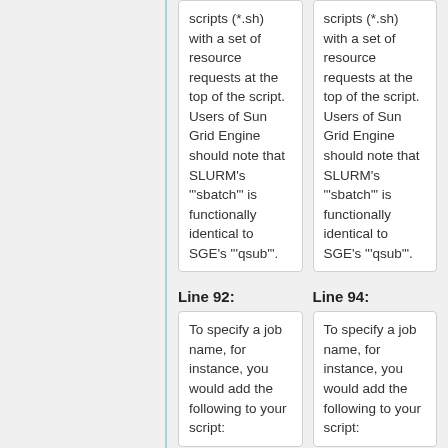scripts (*.sh) with a set of resource requests at the top of the script. Users of Sun Grid Engine should note that SLURM's "'sbatch'" is functionally identical to SGE's "'qsub'".
scripts (*.sh) with a set of resource requests at the top of the script. Users of Sun Grid Engine should note that SLURM's "'sbatch'" is functionally identical to SGE's "'qsub'".
Line 92:
Line 94:
To specify a job name, for instance, you would add the following to your script:
To specify a job name, for instance, you would add the following to your script:
<pre>
<pre>